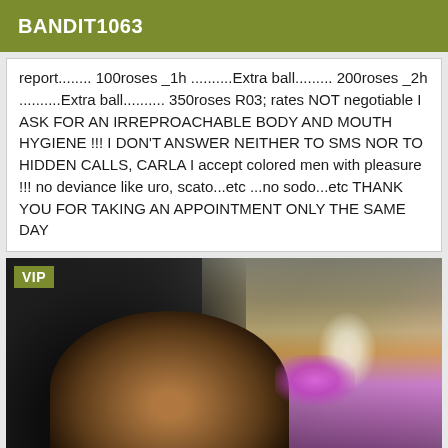BANDIT1063
report........ 100roses _1h ..........Extra ball......... 200roses _2h ..........Extra ball.......... 350roses R03; rates NOT negotiable I ASK FOR AN IRREPROACHABLE BODY AND MOUTH HYGIENE !!! I DON'T ANSWER NEITHER TO SMS NOR TO HIDDEN CALLS, CARLA I accept colored men with pleasure !!! no deviance like uro, scato...etc ...no sodo...etc THANK YOU FOR TAKING AN APPOINTMENT ONLY THE SAME DAY
[Figure (photo): Photo of a person indoors with purple ambient lighting visible in the background. A VIP badge is overlaid in the top-left corner of the image.]